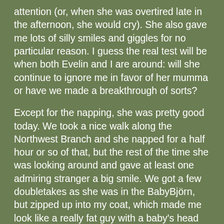attention (or, when she was overtired late in the afternoon, she would cry). She also gave me lots of silly smiles and giggles for no particular reason. I guess the real test will be when both Evelin and I are around: will she continue to ignore me in favor of her mumma or have we made a breakthrough of sorts?
Except for the napping, she was pretty good today. We took a nice walk along the Northwest Branch and she napped for a half hour or so of that, but the rest of the time she was looking around and gave at least one admiring stranger a big smile. We got a few doubletakes as she was in the BabyBjörn, but zipped up into my coat, which made me look like a really fat guy with a baby's head poking out of my chest.
Once we got home, there was some quiet play and an attempt or two to nap, but no luck. Finally she had a crankypants meltdown, and I set her up in her crib and started to walk away. She was asleep before I got to the door. Now the question is does she think she's down for the night, or will she want to play for an hour or two (along with